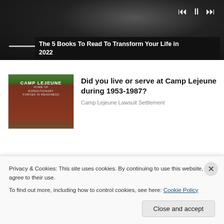[Figure (screenshot): Video player with dark background showing blurred image, playback controls (skip back, pause, skip forward) in top right, seek bar, and video title overlay at bottom left reading 'The 5 Books To Read To Transform Your Life in 2022']
The 5 Books To Read To Transform Your Life in 2022
[Figure (photo): Photo of Camp Lejeune entrance sign reading 'CAMP LEJEUNE HOME OF EXPEDITIONARY FORCES IN READINESS' on a brick wall with trees and people in background]
Did you live or serve at Camp Lejeune during 1953-1987?
Camp Lejeune Lawsuit Settlement
Privacy & Cookies: This site uses cookies. By continuing to use this website, you agree to their use.
To find out more, including how to control cookies, see here: Cookie Policy